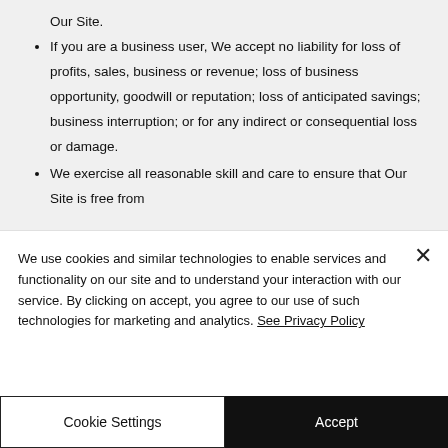Our Site.
If you are a business user, We accept no liability for loss of profits, sales, business or revenue; loss of business opportunity, goodwill or reputation; loss of anticipated savings; business interruption; or for any indirect or consequential loss or damage.
We exercise all reasonable skill and care to ensure that Our Site is free from
We use cookies and similar technologies to enable services and functionality on our site and to understand your interaction with our service. By clicking on accept, you agree to our use of such technologies for marketing and analytics. See Privacy Policy
Cookie Settings
Accept